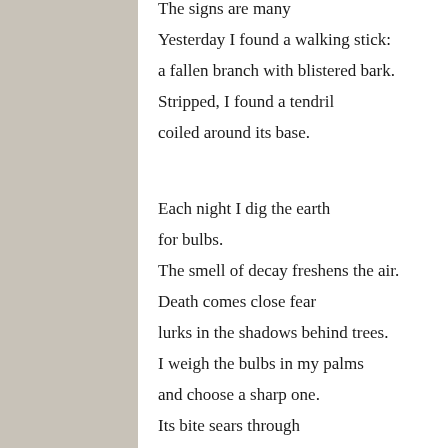[Figure (illustration): Gray/beige vertical sidebar panel on the left side of the page]
The signs are many

Yesterday I found a walking stick:

a fallen branch with blistered bark.

Stripped, I found a tendril

coiled around its base.


Each night I dig the earth

for bulbs.

The smell of decay freshens the air.

Death comes close fear

lurks in the shadows behind trees.

I weigh the bulbs in my palms

and choose a sharp one.

Its bite sears through